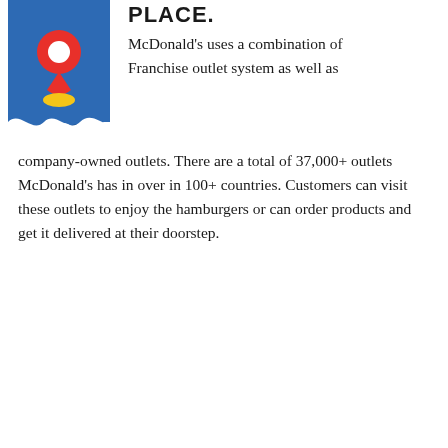PLACE.
[Figure (illustration): A blue ribbon/bookmark shape with a red location pin icon on top and a yellow circle accent below the pin, on a blue background with wavy bottom edge.]
McDonald's uses a combination of Franchise outlet system as well as company-owned outlets. There are a total of 37,000+ outlets McDonald's has in over in 100+ countries. Customers can visit these outlets to enjoy the hamburgers or can order products and get it delivered at their doorstep.